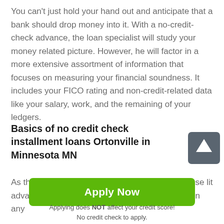You can't just hold your hand out and anticipate that a bank should drop money into it. With a no-credit-check advance, the loan specialist will study your money related picture. However, he will factor in a more extensive assortment of information that focuses on measuring your financial soundness. It includes your FICO rating and non-credit-related data like your salary, work, and the remaining of your ledgers.
Basics of no credit check installment loans Ortonville in Minnesota MN
As the name implies, borrowers can apply for these lit advances and not have their record considered. In any
[Figure (other): A dark grey rounded square button with a white upward-pointing arrow, used as a scroll-to-top button.]
Apply Now
Applying does NOT affect your credit score!
No credit check to apply.